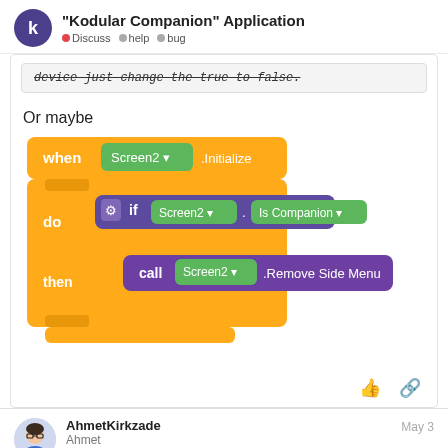"Kodular Companion" Application
Discuss • help • bug
device just change the true to false.
Or maybe
[Figure (screenshot): Block-based code snippet showing: when Screen2.Initialize do if Screen2.Is Companion then call Screen2.Remove Side Menu else (empty)]
AhmetKirkzade
Ahmet
Premium User
May 3
Okay, I'll do it and get back to you.
18 / 28